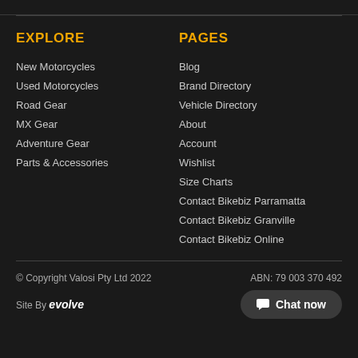EXPLORE
New Motorcycles
Used Motorcycles
Road Gear
MX Gear
Adventure Gear
Parts & Accessories
PAGES
Blog
Brand Directory
Vehicle Directory
About
Account
Wishlist
Size Charts
Contact Bikebiz Parramatta
Contact Bikebiz Granville
Contact Bikebiz Online
© Copyright Valosi Pty Ltd 2022    ABN: 79 003 370 492    Site By evolve
Chat now